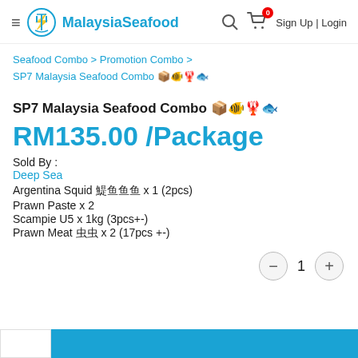MalaysiaSeafood — Sign Up | Login
Seafood Combo > Promotion Combo >
SP7 Malaysia Seafood Combo 海鲜套餐
SP7 Malaysia Seafood Combo 海鲜套餐
RM135.00 /Package
Sold By :
Deep Sea
Argentina Squid 阿根廷鱿鱼 x 1 (2pcs)
Prawn Paste x 2
Scampie U5 x 1kg (3pcs+-)
Prawn Meat 虾肉 x 2 (17pcs +-)